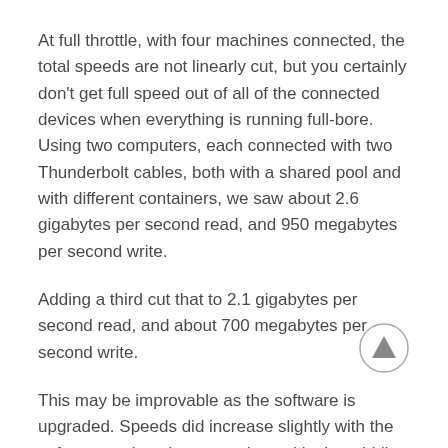At full throttle, with four machines connected, the total speeds are not linearly cut, but you certainly don't get full speed out of all of the connected devices when everything is running full-bore. Using two computers, each connected with two Thunderbolt cables, both with a shared pool and with different containers, we saw about 2.6 gigabytes per second read, and 950 megabytes per second write.
Adding a third cut that to 2.1 gigabytes per second read, and about 700 megabytes per second write.
This may be improvable as the software is upgraded. Speeds did increase slightly with the software update that was released in the middle of our evaluation. But it feels like the entire 12-drive array is being split across all the containers, versus breaking up the 12 drives evenly across users.
This all said, I'm not sure I'd work directly on the unit in a shared pool of storage, if you have multiple users connected. There's no